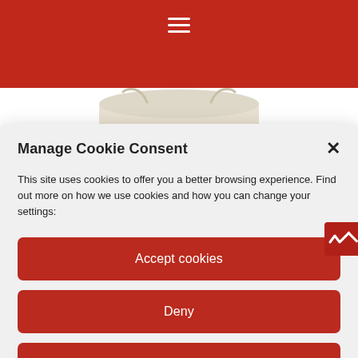☰
[Figure (photo): Top portion of a beige/cream drawstring bag product on white background]
Manage Cookie Consent
This site uses cookies to offer you a better browsing experience. Find out more on how we use cookies and how you can change your settings:
Accept cookies
Deny
View preferences
[Figure (photo): Bottom portion of a beige/cream drawstring bag product on white background]